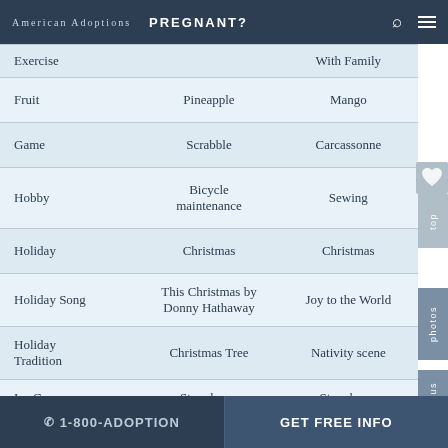American Adoptions   PREGNANT?
| Category | Column 1 | Column 2 |
| --- | --- | --- |
| Exercise |  | With Family |
| Fruit | Pineapple | Mango |
| Game | Scrabble | Carcassonne |
| Hobby | Bicycle maintenance | Sewing |
| Holiday | Christmas | Christmas |
| Holiday Song | This Christmas by Donny Hathaway | Joy to the World |
| Holiday Tradition | Christmas Tree | Nativity scene |
| Ice Cream | Strawberry | Strawberry |
☎ 1-800-ADOPTION   GET FREE INFO